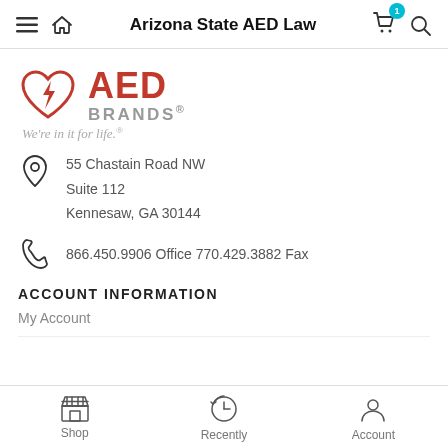Arizona State AED Law
[Figure (logo): AED Brands logo with red heart and lightning bolt icon, company name in red and grey]
We're in it for life.
55 Chastain Road NW
Suite 112
Kennesaw, GA 30144
866.450.9906 Office 770.429.3882 Fax
ACCOUNT INFORMATION
My Account
Shop | Recently | Account